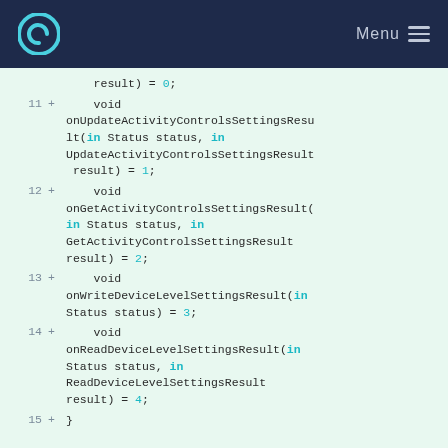e Menu
result) = 0;
11 +     void onUpdateActivityControlsSettingsResult(in Status status, in UpdateActivityControlsSettingsResult result) = 1;
12 +     void onGetActivityControlsSettingsResult(in Status status, in GetActivityControlsSettingsResult result) = 2;
13 +     void onWriteDeviceLevelSettingsResult(in Status status) = 3;
14 +     void onReadDeviceLevelSettingsResult(in Status status, in ReadDeviceLevelSettingsResult result) = 4;
15 + }